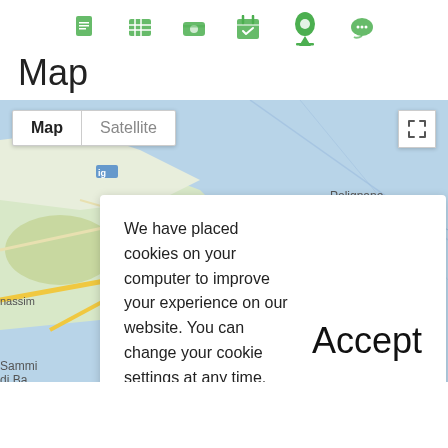[Figure (infographic): Row of 6 green icons: document, list/table, payment/card, calendar/check, map pin (highlighted with green underline), speech bubble]
Map
[Figure (map): Google Maps view showing the Puglia region of Italy including Noicattaro, Rutigliano, Polignano a Mare, Conversano, with Map/Satellite toggle and fullscreen button. A cookie consent overlay reads: 'We have placed cookies on your computer to improve your experience on our website. You can change your cookie settings at any time. Otherwise, we'll assume you're OK to continue.' with an Accept button.]